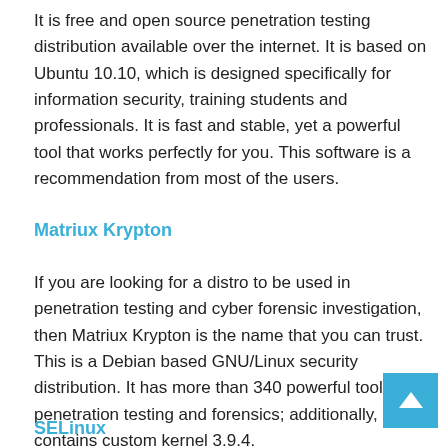It is free and open source penetration testing distribution available over the internet. It is based on Ubuntu 10.10, which is designed specifically for information security, training students and professionals. It is fast and stable, yet a powerful tool that works perfectly for you. This software is a recommendation from most of the users.
Matriux Krypton
If you are looking for a distro to be used in penetration testing and cyber forensic investigation, then Matriux Krypton is the name that you can trust. This is a Debian based GNU/Linux security distribution. It has more than 340 powerful tools for penetration testing and forensics; additionally, it contains custom kernel 3.9.4.
SELinux